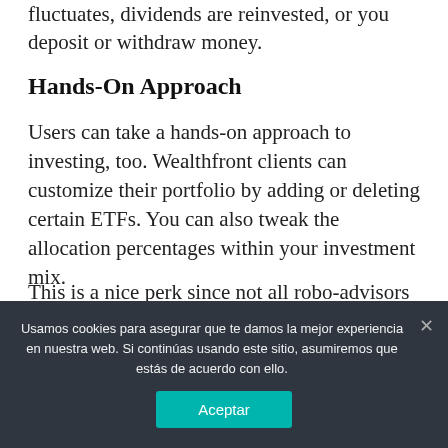fluctuates, dividends are reinvested, or you deposit or withdraw money.
Hands-On Approach
Users can take a hands-on approach to investing, too. Wealthfront clients can customize their portfolio by adding or deleting certain ETFs. You can also tweak the allocation percentages within your investment mix.
This is a nice perk since not all robo-advisors offer this level of customization.
You can customize the following automated
Usamos cookies para asegurar que te damos la mejor experiencia en nuestra web. Si continúas usando este sitio, asumiremos que estás de acuerdo con ello.
Aceptar